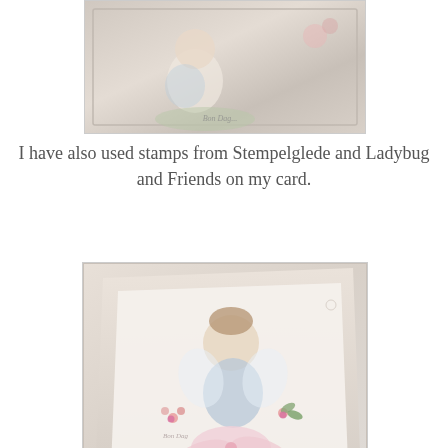[Figure (photo): Partial top photo of a decorated handmade card with a stamped character, lace, and floral embellishments, cropped at the top]
I have also used stamps from Stempelglede and Ladybug and Friends on my card.
[Figure (photo): Full photo of a decorated handmade card featuring a fairy/angel stamped character in blue, surrounded by pink ribbon bow, small roses, pearls, and lace on a cream/beige background]
One more picture
[Figure (photo): Close-up photo of the same handmade card showing a closer view of the stamped fairy/angel character with wings, blue dress, and floral details]